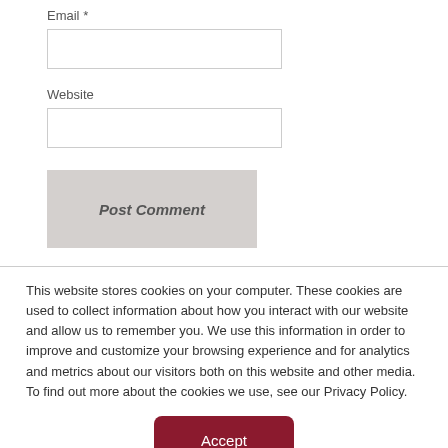Email *
Website
Post Comment
This website stores cookies on your computer. These cookies are used to collect information about how you interact with our website and allow us to remember you. We use this information in order to improve and customize your browsing experience and for analytics and metrics about our visitors both on this website and other media. To find out more about the cookies we use, see our Privacy Policy.
Accept